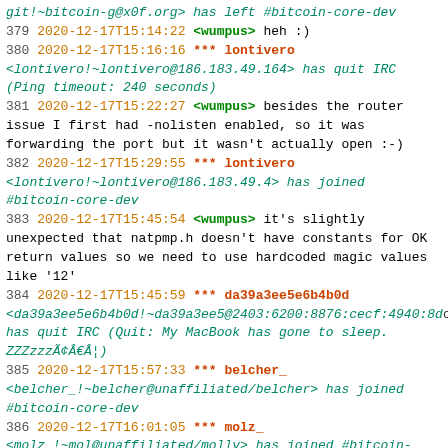git!~bitcoin-g@x0f.org> has left #bitcoin-core-dev
379 2020-12-17T15:14:22  <wumpus> heh :)
380 2020-12-17T15:16:16  *** lontivero <lontivero!~lontivero@186.183.49.164> has quit IRC (Ping timeout: 240 seconds)
381 2020-12-17T15:22:27  <wumpus> besides the router issue I first had -nolisten enabled, so it was forwarding the port but it wasn't actually open :-)
382 2020-12-17T15:29:55  *** lontivero <lontivero!~lontivero@186.183.49.4> has joined #bitcoin-core-dev
383 2020-12-17T15:45:54  <wumpus> it's slightly unexpected that natpmp.h doesn't have constants for OK return values so we need to use hardcoded magic values like '12'
384 2020-12-17T15:45:59  *** da39a3ee5e6b4b0d <da39a3ee5e6b4b0d!~da39a3ee5@2403:6200:8876:cecf:4940:8d... has quit IRC (Quit: My MacBook has gone to sleep. ZZZzzzÃ¢Â€Â¦)
385 2020-12-17T15:57:33  *** belcher_ <belcher_!~belcher@unaffiliated/belcher> has joined #bitcoin-core-dev
386 2020-12-17T16:01:05  *** molz_ <molz_!~mol@unaffiliated/molly> has joined #bitcoin-core-dev
387 2020-12-17T16:01:25  *** belcher <belcher!~belcher@unaffiliated/belcher> has quit IRC (Ping timeout: 264 seconds)